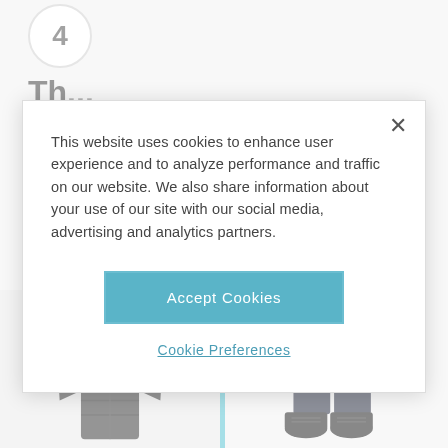4
Th...
[Figure (photo): Black puffer/down coat product photo on light background]
[Figure (photo): Dark navy trousers/pants with black oxford shoes product photo on white background]
This website uses cookies to enhance user experience and to analyze performance and traffic on our website. We also share information about your use of our site with our social media, advertising and analytics partners.
Accept Cookies
Cookie Preferences